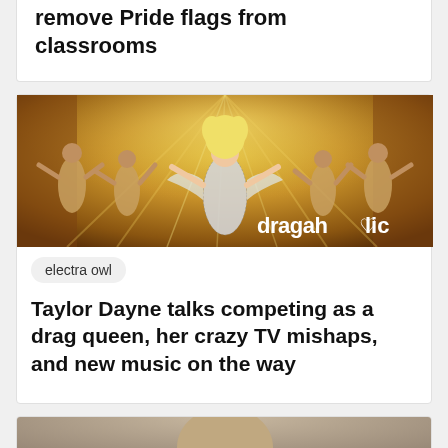remove Pride flags from classrooms
[Figure (photo): Drag performance scene with dancers in gold outfits, center performer in sparkly dress with arms outstretched, 'dragaholic' logo overlay in bottom right]
electra owl
Taylor Dayne talks competing as a drag queen, her crazy TV mishaps, and new music on the way
[Figure (photo): Portrait photo of a person, cropped to show top of head and upper face]